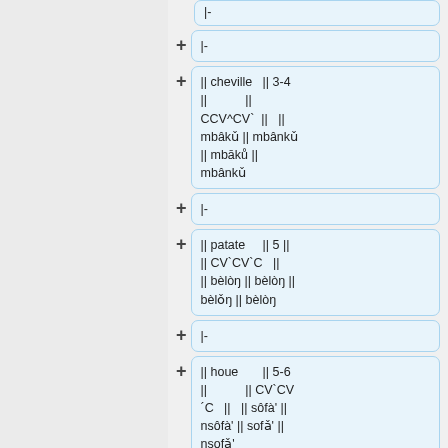|- (partial top)
|-
|| cheville || 3-4 || || CCV^CV` || || mbâkǔ || mbânkǔ || mbāků || mbânkǔ
|-
|| patate || 5 || || CV`CV`C || || bèlòŋ || bèlòŋ || bèlǒŋ || bèlòŋ
|-
|| houe || 5-6 || || CV`CV´C || || sôfà' || nsôfà' || sofǎ' || nsofǎ'